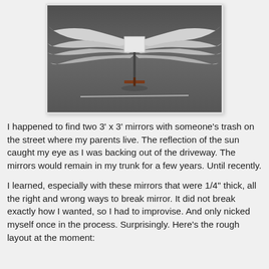[Figure (photo): A photo of an art installation: two large white feathered wings spread wide, mounted on a vertical stand with a cross-like base, set against a dark gray concrete or stone background. A white horizontal line is visible on the floor beneath.]
I happened to find two 3' x 3' mirrors with someone's trash on the street where my parents live. The reflection of the sun caught my eye as I was backing out of the driveway. The mirrors would remain in my trunk for a few years. Until recently.
I learned, especially with these mirrors that were 1/4" thick, all the right and wrong ways to break mirror. It did not break exactly how I wanted, so I had to improvise. And only nicked myself once in the process. Surprisingly. Here's the rough layout at the moment: